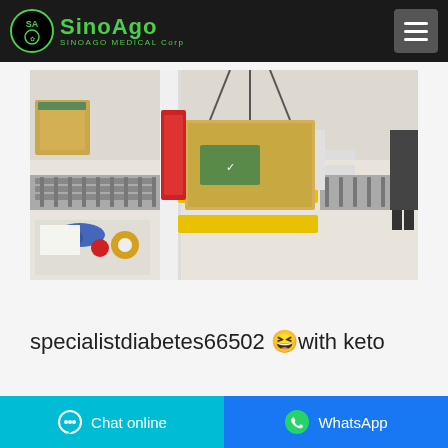SINOAGO MEDICAL Corp
[Figure (photo): Factory/warehouse packaging line with automated box sealing machine, conveyor rollers, cardboard boxes with green logos, tape, blue gloves on a workbench.]
specialistdiabetes66502 😆with keto